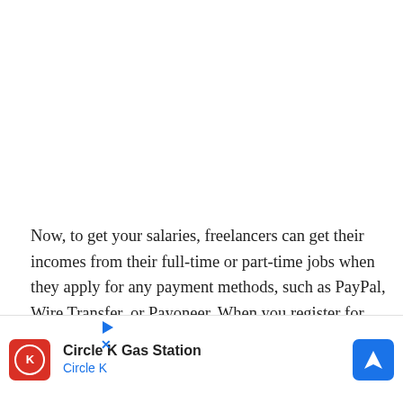Now, to get your salaries, freelancers can get their incomes from their full-time or part-time jobs when they apply for any payment methods, such as PayPal, Wire Transfer, or Payoneer. When you register for Payoneer so that you will have your
[Figure (screenshot): Video player overlay showing 'No compatible source was found for this media.' message with a semi-transparent grey background]
[Figure (screenshot): Advertisement bar for Circle K Gas Station with Circle K logo, title 'Circle K Gas Station', subtitle 'Circle K' in blue, and a blue navigation/directions icon arrow]